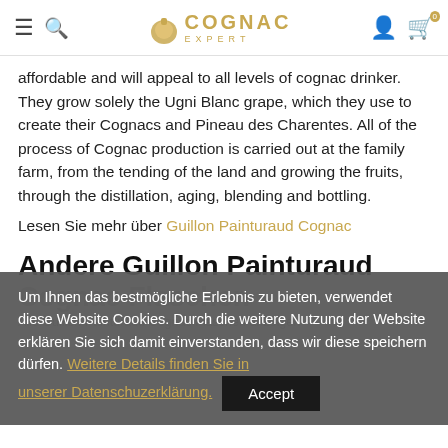Cognac Expert – navigation header with menu, search, logo, account and cart icons
affordable and will appeal to all levels of cognac drinker. They grow solely the Ugni Blanc grape, which they use to create their Cognacs and Pineau des Charentes. All of the process of Cognac production is carried out at the family farm, from the tending of the land and growing the fruits, through the distillation, aging, blending and bottling.
Lesen Sie mehr über Guillon Painturaud Cognac
Andere Guillon Painturaud Cognac Flaschen
Um Ihnen das bestmögliche Erlebnis zu bieten, verwendet diese Website Cookies. Durch die weitere Nutzung der Website erklären Sie sich damit einverstanden, dass wir diese speichern dürfen. Weitere Details finden Sie in unserer Datenschuzerklärung. Accept
Alle Guillon Painturaud Cognac Flaschen anzeigen